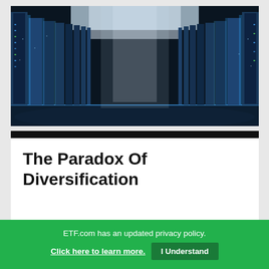[Figure (photo): Interior view of a data center or server room with tall blue metallic columns and racks, bright reflective floor, dramatic perspective shot looking upward toward a bright ceiling]
The Paradox Of Diversification
[Figure (photo): Partial view of a hand pointing at financial documents with a colorful pie chart visible on paper]
ETF.com has an updated privacy policy.
Click here to learn more.  I Understand